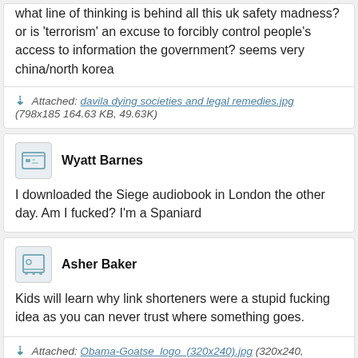what line of thinking is behind all this uk safety madness? or is 'terrorism' an excuse to forcibly control people's access to information the government? seems very china/north korea
Attached: davila dying societies and legal remedies.jpg (798x185 164.63 KB, 49.63K)
Wyatt Barnes
I downloaded the Siege audiobook in London the other day. Am I fucked? I'm a Spaniard
Asher Baker
Kids will learn why link shorteners were a stupid fucking idea as you can never trust where something goes.
Attached: Obama-Goatse_logo_(320x240).jpg (320x240, 19.33K)